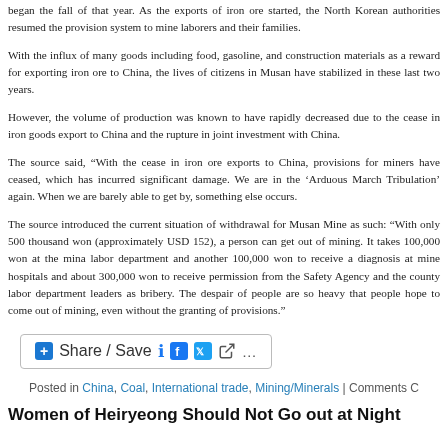began the fall of that year. As the exports of iron ore started, the North Korean authorities resumed the provision system to mine laborers and their families.
With the influx of many goods including food, gasoline, and construction materials as a reward for exporting iron ore to China, the lives of citizens in Musan have stabilized in these last two years.
However, the volume of production was known to have rapidly decreased due to the cease in iron goods export to China and the rupture in joint investment with China.
The source said, “With the cease in iron ore exports to China, provisions for miners have ceased, which has incurred significant damage. We are in the ‘Arduous March Tribulation’ again. When we are barely able to get by, something else occurs.
The source introduced the current situation of withdrawal for Musan Mine as such: “With only 500 thousand won (approximately USD 152), a person can get out of mining. It takes 100,000 won at the mina labor department and another 100,000 won to receive a diagnosis at mine hospitals and about 300,000 won to receive permission from the Safety Agency and the county labor department leaders as bribery. The despair of people are so heavy that people hope to come out of mining, even without the granting of provisions.”
[Figure (other): Share/Save button with Facebook, Twitter, and share icons]
Posted in China, Coal, International trade, Mining/Minerals | Comments C
Women of Heiryeong Should Not Go out at Night